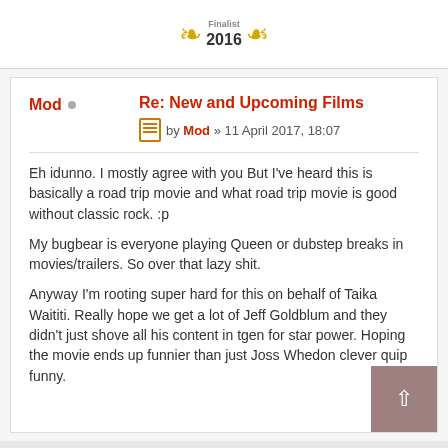[Figure (illustration): Award laurel with '2016' text partially visible at top]
Mod •
Re: New and Upcoming Films
by Mod » 11 April 2017, 18:07
Eh idunno. I mostly agree with you But I've heard this is basically a road trip movie and what road trip movie is good without classic rock. :p
My bugbear is everyone playing Queen or dubstep breaks in movies/trailers. So over that lazy shit.
Anyway I'm rooting super hard for this on behalf of Taika Waititi. Really hope we get a lot of Jeff Goldblum and they didn't just shove all his content in tgen for star power. Hoping the movie ends up funnier than just Joss Whedon clever quip funny.